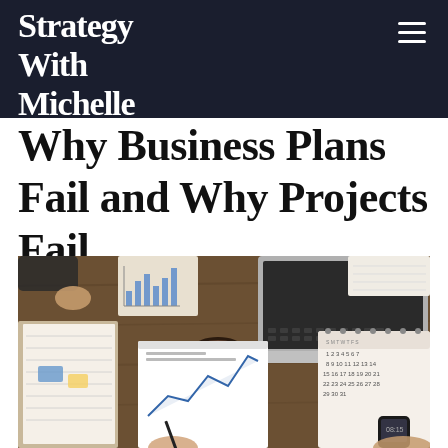Strategy With Michelle
Why Business Plans Fail and Why Projects Fail
[Figure (photo): Overhead view of a business meeting at a wooden table with people reviewing documents, charts, a laptop, coffee cup, calendar, and smartphone]